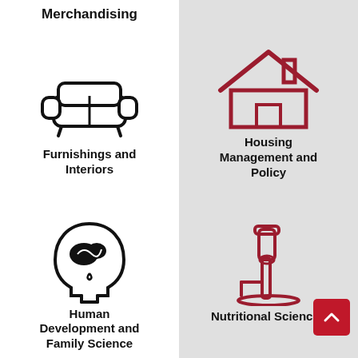Merchandising
[Figure (illustration): Icon of a sofa/couch representing Furnishings and Interiors]
Furnishings and Interiors
[Figure (illustration): Icon of a human head with brain representing Human Development and Family Science]
Human Development and Family Science
[Figure (illustration): Icon of a house representing Housing Management and Policy]
Housing Management and Policy
[Figure (illustration): Icon of a microscope representing Nutritional Sciences]
Nutritional Sciences